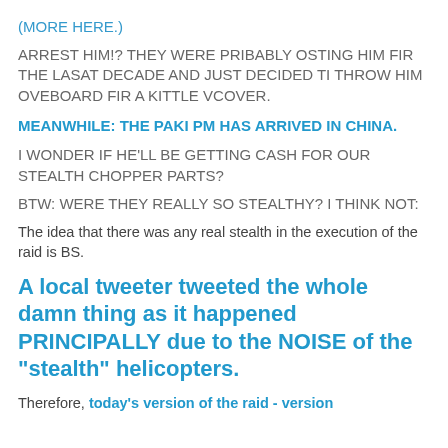(MORE HERE.)
ARREST HIM!? THEY WERE PRIBABLY OSTING HIM FIR THE LASAT DECADE AND JUST DECIDED TI THROW HIM OVEBOARD FIR A KITTLE VCOVER.
MEANWHILE: THE PAKI PM HAS ARRIVED IN CHINA.
I WONDER IF HE'LL BE GETTING CASH FOR OUR STEALTH CHOPPER PARTS?
BTW: WERE THEY REALLY SO STEALTHY? I THINK NOT:
The idea that there was any real stealth in the execution of the raid is BS.
A local tweeter tweeted the whole damn thing as it happened PRINCIPALLY due to the NOISE of the "stealth" helicopters.
Therefore, today's version of the raid - version